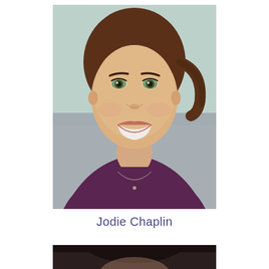[Figure (photo): Professional headshot of a smiling woman with brown hair pulled back, wearing a dark purple/maroon top and a delicate necklace, photographed against a soft blurred background.]
Jodie Chaplin
[Figure (photo): Partial view of a second person's headshot, cropped at the bottom of the page, showing dark hair against a dark background.]